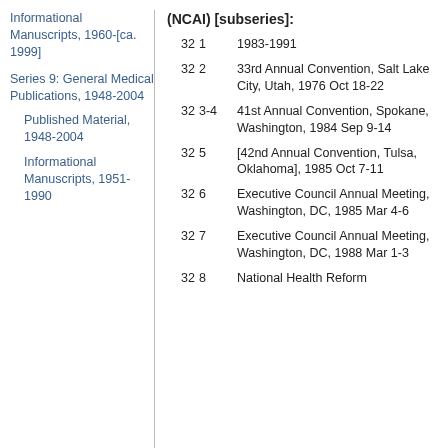Informational Manuscripts, 1960-[ca. 1999]
Series 9: General Medical Publications, 1948-2004
Published Material, 1948-2004
Informational Manuscripts, 1951-1990
(NCAI) [subseries]:
| Box | Folder | Description |
| --- | --- | --- |
| 32 | 1 | 1983-1991 |
| 32 | 2 | 33rd Annual Convention, Salt Lake City, Utah, 1976 Oct 18-22 |
| 32 | 3-4 | 41st Annual Convention, Spokane, Washington, 1984 Sep 9-14 |
| 32 | 5 | [42nd Annual Convention, Tulsa, Oklahoma], 1985 Oct 7-11 |
| 32 | 6 | Executive Council Annual Meeting, Washington, DC, 1985 Mar 4-6 |
| 32 | 7 | Executive Council Annual Meeting, Washington, DC, 1988 Mar 1-3 |
| 32 | 8 | National Health Reform |